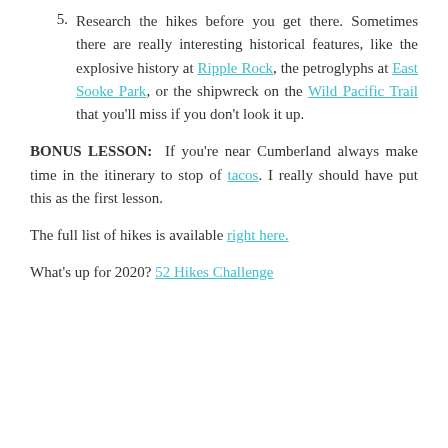5. Research the hikes before you get there. Sometimes there are really interesting historical features, like the explosive history at Ripple Rock, the petroglyphs at East Sooke Park, or the shipwreck on the Wild Pacific Trail that you'll miss if you don't look it up.
BONUS LESSON: If you're near Cumberland always make time in the itinerary to stop of tacos. I really should have put this as the first lesson.
The full list of hikes is available right here.
What's up for 2020? 52 Hikes Challenge